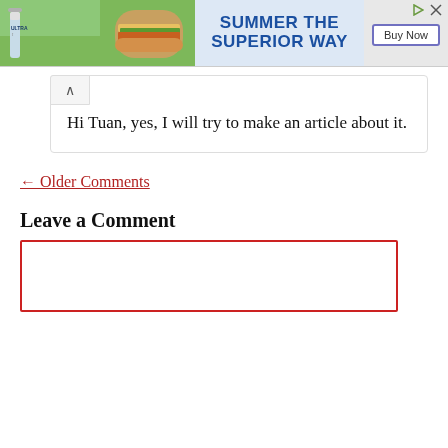[Figure (photo): Advertisement banner: Michelob Ultra beer bottle and burger on left, 'SUMMER THE SUPERIOR WAY' text in blue on dotted background, Buy Now button on right, with close/expand icons top right]
Hi Tuan, yes, I will try to make an article about it.
← Older Comments
Leave a Comment